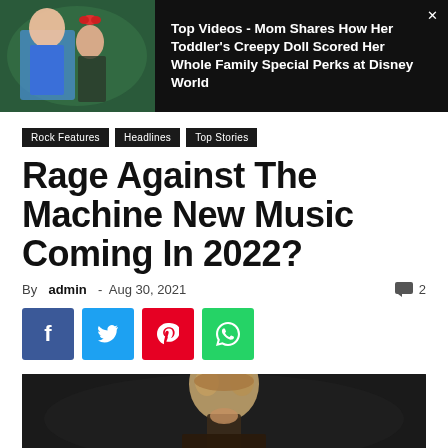[Figure (photo): Ad banner: girl dressed as Minnie Mouse holding a doll, dark background]
Top Videos - Mom Shares How Her Toddler's Creepy Doll Scored Her Whole Family Special Perks at Disney World
Rock Features | Headlines | Top Stories
Rage Against The Machine New Music Coming In 2022?
By admin - Aug 30, 2021  💬 2
[Figure (photo): Concert photo of performer with afro hair on dark stage]